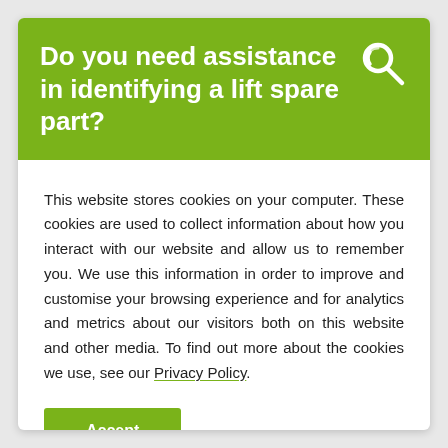Do you need assistance in identifying a lift spare part?
This website stores cookies on your computer. These cookies are used to collect information about how you interact with our website and allow us to remember you. We use this information in order to improve and customise your browsing experience and for analytics and metrics about our visitors both on this website and other media. To find out more about the cookies we use, see our Privacy Policy.
Accept